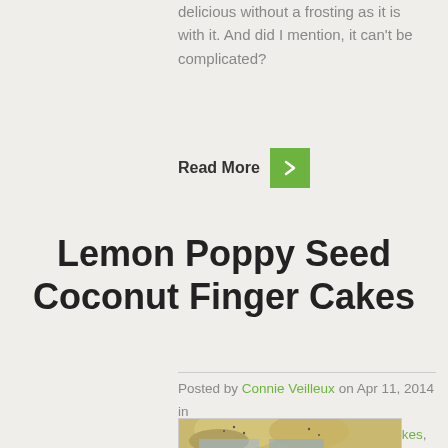delicious without a frosting as it is with it. And did I mention, it can't be complicated?
Read More
Lemon Poppy Seed Coconut Finger Cakes
Posted by Connie Veilleux on Apr 11, 2014 in Breads, Breakfast, Brunch Foods, Cakes, Desserts, Easter | 2 comments
[Figure (photo): Photo of lemon poppy seed coconut finger cakes in blue paper cups]
This recipe creates little "cakes" that